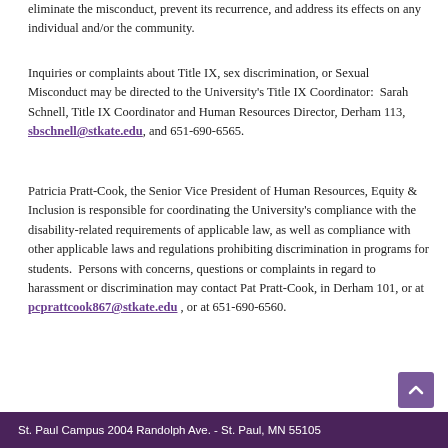eliminate the misconduct, prevent its recurrence, and address its effects on any individual and/or the community.
Inquiries or complaints about Title IX, sex discrimination, or Sexual Misconduct may be directed to the University's Title IX Coordinator:  Sarah Schnell, Title IX Coordinator and Human Resources Director, Derham 113, sbschnell@stkate.edu, and 651-690-6565.
Patricia Pratt-Cook, the Senior Vice President of Human Resources, Equity & Inclusion is responsible for coordinating the University's compliance with the disability-related requirements of applicable law, as well as compliance with other applicable laws and regulations prohibiting discrimination in programs for students.  Persons with concerns, questions or complaints in regard to harassment or discrimination may contact Pat Pratt-Cook, in Derham 101, or at pcprattcook867@stkate.edu , or at 651-690-6560.
St. Paul Campus 2004 Randolph Ave. - St. Paul, MN 55105